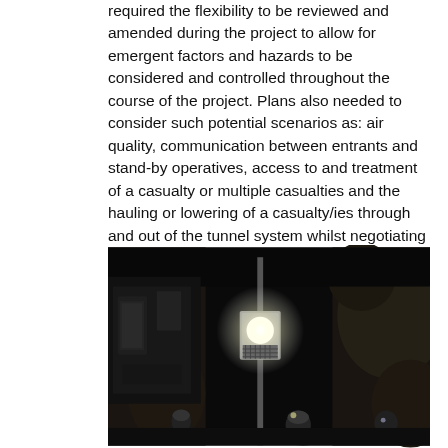required the flexibility to be reviewed and amended during the project to allow for emergent factors and hazards to be considered and controlled throughout the course of the project. Plans also needed to consider such potential scenarios as: air quality, communication between entrants and stand-by operatives, access to and treatment of a casualty or multiple casualties and the hauling or lowering of a casualty/ies through and out of the tunnel system whilst negotiating multiple hazards.
[Figure (photo): Dark tunnel interior photograph showing equipment with a bright light source (appears to be a lighting or monitoring device suspended/mounted in the tunnel), with rocky tunnel walls visible in the background and people visible at the bottom of the image.]